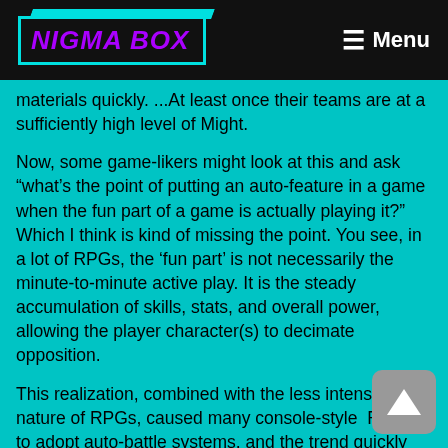NIGMA BOX   Menu
materials quickly. ...At least once their teams are at a sufficiently high level of Might.
Now, some game-likers might look at this and ask “what’s the point of putting an auto-feature in a game when the fun part of a game is actually playing it?” Which I think is kind of missing the point. You see, in a lot of RPGs, the ‘fun part’ is not necessarily the minute-to-minute active play. It is the steady accumulation of skills, stats, and overall power, allowing the player character(s) to decimate opposition.
This realization, combined with the less intensive nature of RPGs, caused many console-style RPGs to adopt auto-battle systems, and the trend quickly carried over to mobile RPGs, where the system was used to retain user attention while making grinding/farming far less mundane. And while one might comment on how it is